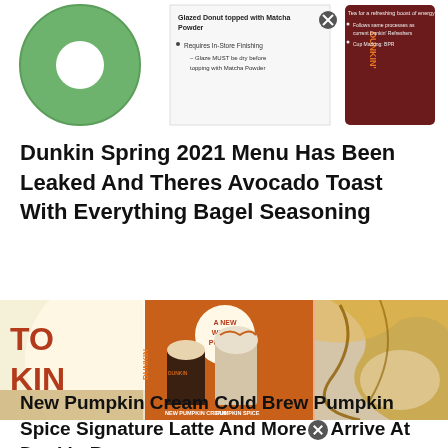[Figure (photo): Collage showing a green matcha glazed donut on the left, a menu card in the middle with text about Glazed Donut topped with Matcha Powder and Requires In-Store Finishing, and a dark red Dunkin cup on the right with bullet points about refreshing boost of energy, follows same processes as current Dunkin Refreshers, and Cup Marking: BPR.]
Dunkin Spring 2021 Menu Has Been Leaked And Theres Avocado Toast With Everything Bagel Seasoning
[Figure (photo): Dunkin promotional image showing New Pumpkin Cream Cold Brew and Pumpkin Spice Signature Latte drinks on an orange background with text 'A NEW WAY TO PUMPKIN'. Left side shows Dunkin branding, right side shows caramel drizzle closeup.]
New Pumpkin Cream Cold Brew Pumpkin Spice Signature Latte And More Arrive At Dunkin By